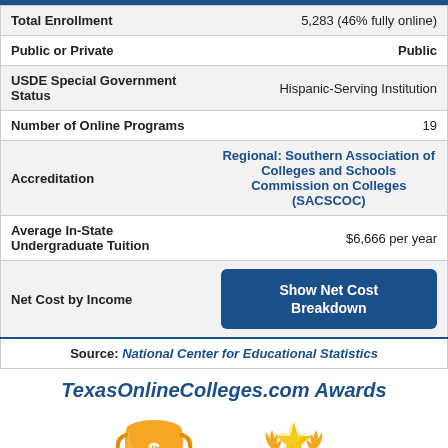|  |  |
| --- | --- |
| Total Enrollment | 5,283 (46% fully online) |
| Public or Private | Public |
| USDE Special Government Status | Hispanic-Serving Institution |
| Number of Online Programs | 19 |
| Accreditation | Regional: Southern Association of Colleges and Schools Commission on Colleges (SACSCOC) |
| Average In-State Undergraduate Tuition | $6,666 per year |
| Net Cost by Income | Show Net Cost Breakdown |
Source: National Center for Educational Statistics
TexasOnlineColleges.com Awards
[Figure (illustration): Two award trophy icons - a gold dollar-sign trophy on the left and a gold star/laurel award on the right]